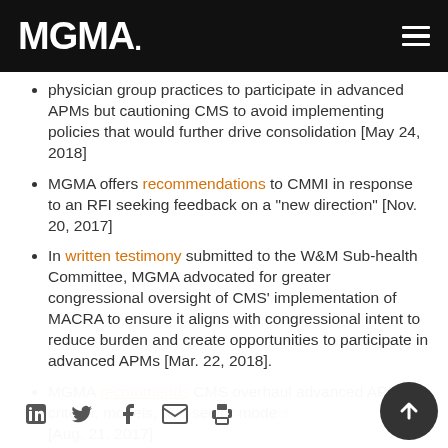MGMA.
physician group practices to participate in advanced APMs but cautioning CMS to avoid implementing policies that would further drive consolidation [May 24, 2018]
MGMA offers recommendations to CMMI in response to an RFI seeking feedback on a "new direction" [Nov. 20, 2017]
In written testimony submitted to the W&M Sub-health Committee, MGMA advocated for greater congressional oversight of CMS' implementation of MACRA to ensure it aligns with congressional intent to reduce burden and create opportunities to participate in advanced APMs [Mar. 22, 2018].
MGMA recommends CMS overhaul advanced APM criteria, expand the list of qualifying models, and ... sector models [Aug. 21, 2017]